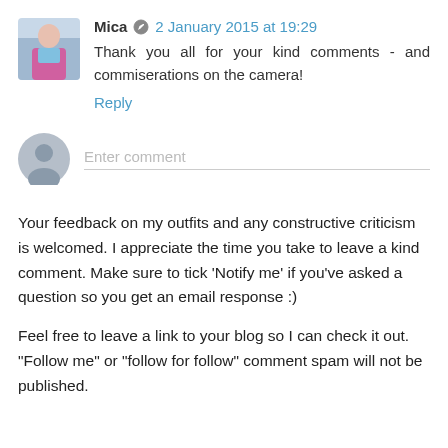Mica  2 January 2015 at 19:29
Thank you all for your kind comments - and commiserations on the camera!
Reply
[Figure (other): Anonymous user avatar placeholder]
Enter comment
Your feedback on my outfits and any constructive criticism is welcomed. I appreciate the time you take to leave a kind comment. Make sure to tick 'Notify me' if you've asked a question so you get an email response :)
Feel free to leave a link to your blog so I can check it out. "Follow me" or "follow for follow" comment spam will not be published.